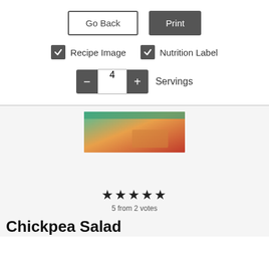[Figure (screenshot): Go Back button (outlined) and Print button (dark filled) side by side]
✓ Recipe Image   ✓ Nutrition Label
− 4 + Servings
[Figure (photo): Partial photo of a chickpea salad dish, cropped strip showing colorful salad ingredients]
★★★★★
5 from 2 votes
Chickpea Salad